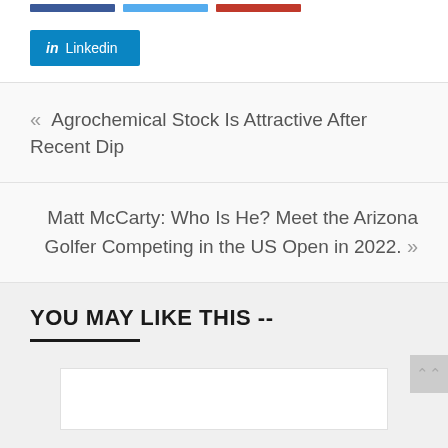[Figure (other): Social sharing buttons: Facebook (dark blue bar), Twitter (light blue bar), Pinterest/Red (red bar), and LinkedIn button]
« Agrochemical Stock Is Attractive After Recent Dip
Matt McCarty: Who Is He? Meet the Arizona Golfer Competing in the US Open in 2022. »
YOU MAY LIKE THIS --